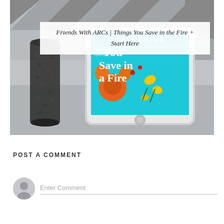[Figure (photo): Photo of an iPad displaying the book cover 'Things You Save in a Fire' by Katherine Center, with text 'You Save in a Fire' visible on the cyan cover with orange flowers, placed on a grey couch with a decorative container in the background.]
Friends With ARCs | Things You Save in the Fire + Start Here
POST A COMMENT
Enter Comment